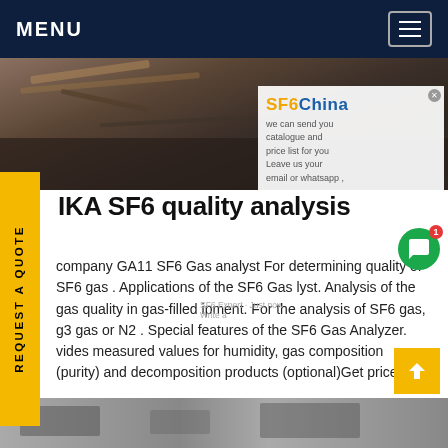MENU
[Figure (photo): Dark brown hero image showing cables and ground surface — industrial/electrical equipment scene]
IKA SF6 quality analysis
company GA11 SF6 Gas analyst For determining quality of SF6 gas . Applications of the SF6 Gas lyst. Analysis of the gas quality in gas-filled ipment. For the analysis of SF6 gas, g3 gas or N2 . Special features of the SF6 Gas Analyzer. vides measured values for humidity, gas composition (purity) and decomposition products (optional)Get price
[Figure (photo): Bottom partial image strip — appears to show equipment or machinery, partially cut off]